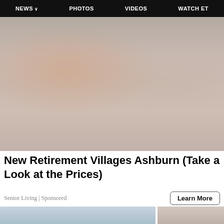NEWS  PHOTOS  VIDEOS  WATCH ET
[Figure (photo): Group of senior women at a party or social gathering in a community room, waving and celebrating]
New Retirement Villages Ashburn (Take a Look at the Prices)
Senior Living | Sponsored
[Figure (photo): Two partial thumbnail images at the bottom of the page]